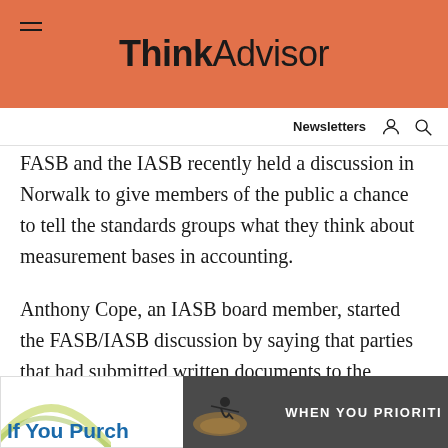ThinkAdvisor
FASB and the IASB recently held a discussion in Norwalk to give members of the public a chance to tell the standards groups what they think about measurement bases in accounting.
Anthony Cope, an IASB board member, started the FASB/IASB discussion by saying that parties that had submitted written documents to the groups or would be speaking during the discussion would have a real chance to be heard.
[Figure (photo): Advertisement banner partially visible at bottom of page with text 'If You Puro...' and 'WHEN YOU PRIORITI...']